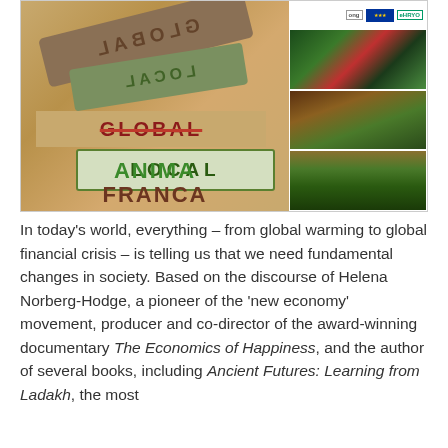[Figure (illustration): Banner image showing a 'Global vs Local' stamp concept on cardboard background with 'ANIMA FRANCA' text in green and brown. Right side shows logos (ONG, EU, EHRYO) and three photos: hands holding produce, person gardening, rows of crops.]
In today's world, everything – from global warming to global financial crisis – is telling us that we need fundamental changes in society. Based on the discourse of Helena Norberg-Hodge, a pioneer of the 'new economy' movement, producer and co-director of the award-winning documentary The Economics of Happiness, and the author of several books, including Ancient Futures: Learning from Ladakh, the most important...